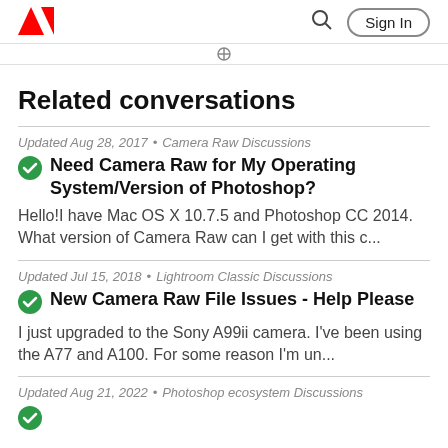Adobe logo | Search | Sign In
Related conversations
Updated Aug 28, 2017 • Camera Raw Discussions
Need Camera Raw for My Operating System/Version of Photoshop?
Hello!I have Mac OS X 10.7.5 and Photoshop CC 2014. What version of Camera Raw can I get with this c...
Updated Jul 15, 2018 • Lightroom Classic Discussions
New Camera Raw File Issues - Help Please
I just upgraded to the Sony A99ii camera. I've been using the A77 and A100. For some reason I'm un...
Updated Aug 21, 2022 • Photoshop ecosystem Discussions